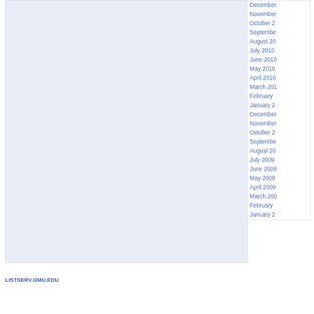December
November
October 2
September
August 20
July 2010
June 2010
May 2010
April 2010
March 201
February
January 2
December
November
October 2
September
August 20
July 2009
June 2009
May 2009
April 2009
March 200
February
January 2
LISTSERV.GMU.EDU